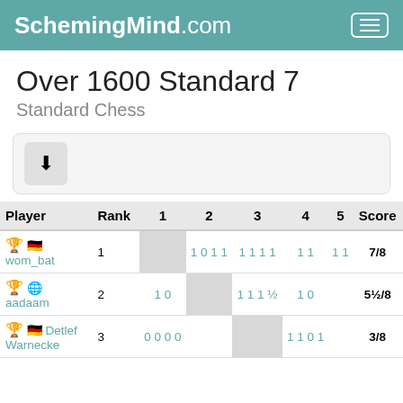SchemingMind.com
Over 1600 Standard 7
Standard Chess
[Figure (other): Download button icon inside a rounded box]
| Player | Rank | 1 | 2 | 3 | 4 | 5 | Score |
| --- | --- | --- | --- | --- | --- | --- | --- |
| 🏆 🇩🇪 wom_bat | 1 |  | 1 0 1 1 | 1 1 1 1 | 1 1 | 1 1 | 7/8 |
| 🥈 🌐 aadaam | 2 | 1 0 |  | 1 1 1 ½ | 1 0 |  | 5½/8 |
| 🏆 🇩🇪 Detlef Warnecke | 3 | 0 0 0 0 |  | 1 1 0 1 |  |  | 3/8 |